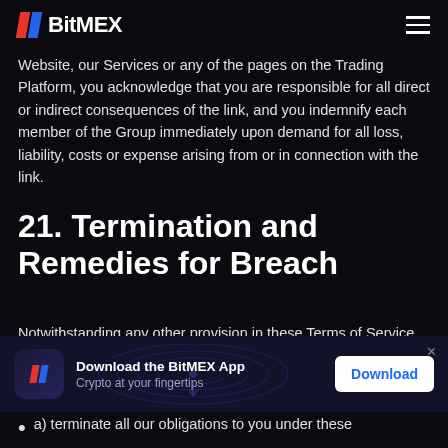BitMEX
Website, our Services or any of the pages on the Trading Platform, you acknowledge that you are responsible for all direct or indirect consequences of the link, and you indemnify each member of the Group immediately upon demand for all loss, liability, costs or expense arising from or in connection with the link.
21. Termination and Remedies for Breach
Notwithstanding any other provision in these Terms of Service (including any rights we have upon an Account Breach) and without prejudice to any of our other rights under these Terms of Service, upon your breach or
[Figure (infographic): BitMEX app download banner with app icon, 'Download the BitMEX App' text, 'Crypto at your fingertips' subtitle, decorative wave background, and a white Download button with close X button]
a) terminate all our obligations to you under these